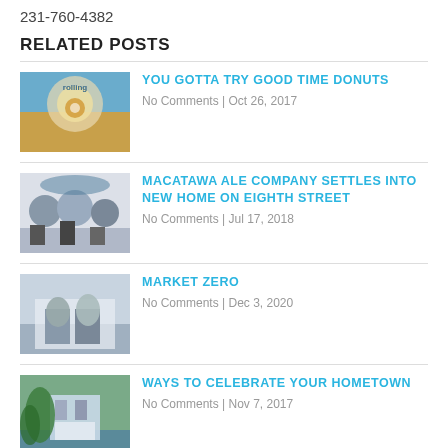231-760-4382
RELATED POSTS
YOU GOTTA TRY GOOD TIME DONUTS
No Comments | Oct 26, 2017
MACATAWA ALE COMPANY SETTLES INTO NEW HOME ON EIGHTH STREET
No Comments | Jul 17, 2018
MARKET ZERO
No Comments | Dec 3, 2020
WAYS TO CELEBRATE YOUR HOMETOWN
No Comments | Nov 7, 2017
ABOUT THE AUTHOR